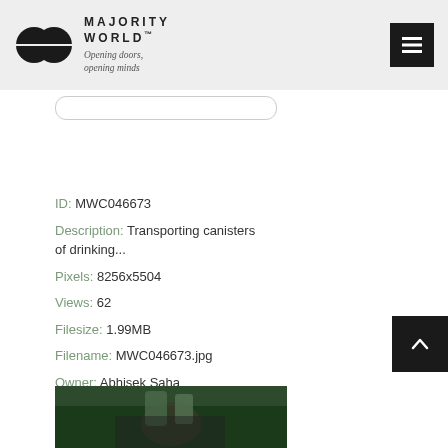MAJORITY WORLD™ Opening doors, opening minds
ID: MWC046673
Description: Transporting canisters of drinking...
Pixels: 8256x5504
Views: 62
Filesize: 1.99MB
Filename: MWC046673.jpg
Owner: Abhisek Saha
Added: Mar 29, 2022
[Figure (photo): Partial thumbnail of a photo at the bottom of the page]